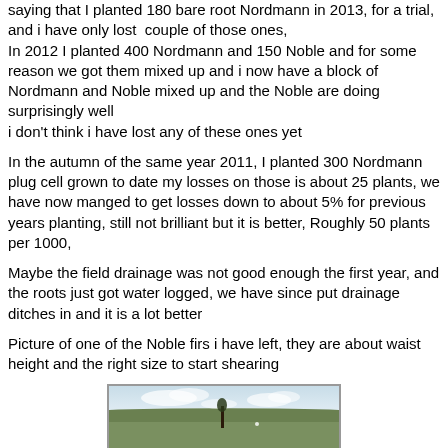saying that I planted 180 bare root Nordmann in 2013, for a trial, and i have only lost  couple of those ones,
In 2012 I planted 400 Nordmann and 150 Noble and for some reason we got them mixed up and i now have a block of Nordmann and Noble mixed up and the Noble are doing surprisingly well
i don't think i have lost any of these ones yet
In the autumn of the same year 2011, I planted 300 Nordmann plug cell grown to date my losses on those is about 25 plants, we have now manged to get losses down to about 5% for previous years planting, still not brilliant but it is better, Roughly 50 plants per 1000,
Maybe the field drainage was not good enough the first year, and the roots just got water logged, we have since put drainage ditches in and it is a lot better
Picture of one of the Noble firs i have left, they are about waist height and the right size to start shearing
[Figure (photo): A landscape photograph showing a field or open land with green ground cover, rolling hills in the background, and a partly cloudy sky.]